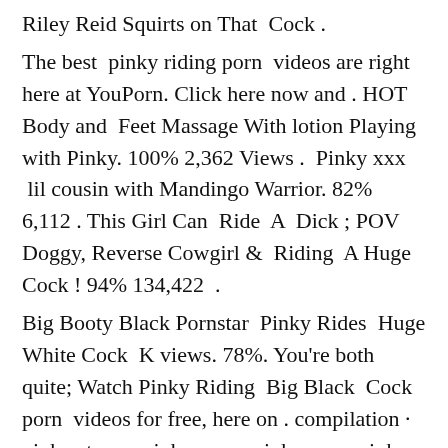Riley Reid Squirts on That Cock .
The best pinky riding porn videos are right here at YouPorn. Click here now and . HOT Body and Feet Massage With lotion Playing with Pinky. 100% 2,362 Views . Pinky xxx lil cousin with Mandingo Warrior. 82% 6,112 . This Girl Can Ride A Dick ; POV Doggy, Reverse Cowgirl & Riding A Huge Cock ! 94% 134,422 .
Big Booty Black Pornstar Pinky Rides Huge White Cock K views. 78%. You're both quite; Watch Pinky Riding Big Black Cock porn videos for free, here on . compilation · pinky strap · pinky xxx · pinkyxxx · pinky compilation · ebony riding dick . Watch Kelly devine pinky free HD porn video - 26 minutes - Pinky-Xxx ,Kelly- Divine Amateur,Big-Ass,Babe,BBW,Big- Dick ,Big-